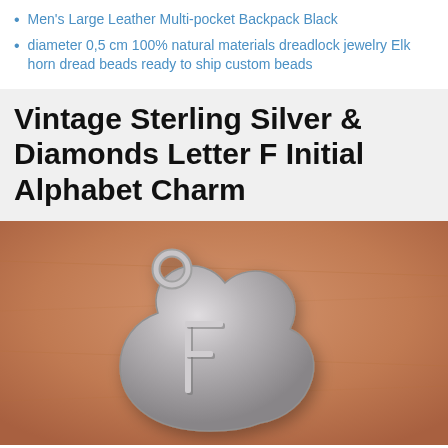Men's Large Leather Multi-pocket Backpack Black
diameter 0,5 cm 100% natural materials dreadlock jewelry Elk horn dread beads ready to ship custom beads
Vintage Sterling Silver & Diamonds Letter F Initial Alphabet Charm
[Figure (photo): Close-up photo of a vintage sterling silver charm in the shape of a cloud or flower, featuring a raised letter F on its face, with a small ring loop at the top, resting on a warm tan/peach leather background.]